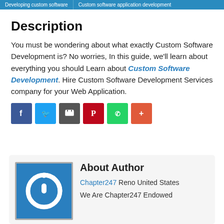Developing custom software | Custom software application development
Description
You must be wondering about what exactly Custom Software Development is? No worries, In this guide, we'll learn about everything you should Learn about Custom Software Development. Hire Custom Software Development Services company for your Web Application.
[Figure (infographic): Social sharing icons: Facebook (blue), Twitter (light blue), Print/share (grey), Pinterest (red), WhatsApp (green), More (orange-red)]
About Author
Chapter247 Reno United States
We Are Chapter247 Endowed